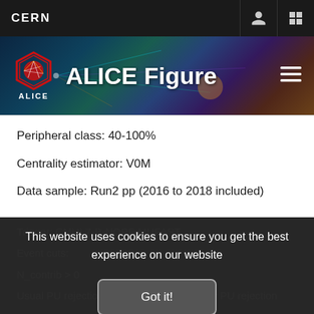CERN
[Figure (screenshot): ALICE Figure website header banner with ALICE logo (red hexagon with particle collision graphic) and 'ALICE Figure' title text on a dark blue/teal particle physics background image]
Peripheral class: 40-100%
Centrality estimator: V0M
Data sample: Run2 pp (2016 to 2018 included)
Trigger: CMUL7-B-NOPF-MUFAST
Event cuts:
N_contrib > 0
Usual PU rejection + Multiplicity dependant PU rejection
This website uses cookies to ensure you get the best experience on our website
Got it!